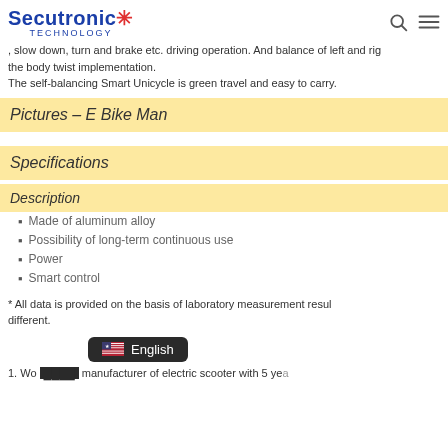Secutronic TECHNOLOGY
, slow down, turn and brake etc. driving operation. And balance of left and right is the body twist implementation.
The self-balancing Smart Unicycle is green travel and easy to carry.
Pictures – E Bike Man
Specifications
Description
Made of aluminum alloy
Possibility of long-term continuous use
Power
Smart control
* All data is provided on the basis of laboratory measurement results and may be different.
1. We are a manufacturer of electric scooter with 5 yea...